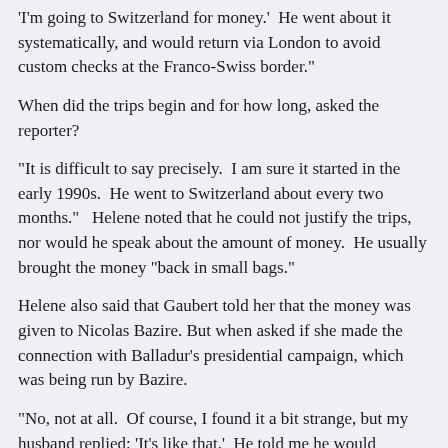'I'm going to Switzerland for money.'  He went about it systematically, and would return via London to avoid custom checks at the Franco-Swiss border."
When did the trips begin and for how long, asked the reporter?
"It is difficult to say precisely.  I am sure it started in the early 1990s.  He went to Switzerland about every two months."   Helene noted that he could not justify the trips, nor would he speak about the amount of money.  He usually brought the money "back in small bags."
Helene also said that Gaubert told her that the money was given to Nicolas Bazire. But when asked if she made the connection with Balladur's presidential campaign, which was being run by Bazire.
"No, not at all.  Of course, I found it a bit strange, but my husband replied: 'It's like that.'  He told me he would explain to me later."
Did your husband cite other names.   "No, only that of Nicolas Bazire," she said.  She added that sometimes her husband went alone to Geneva for the money, and other times, he was.